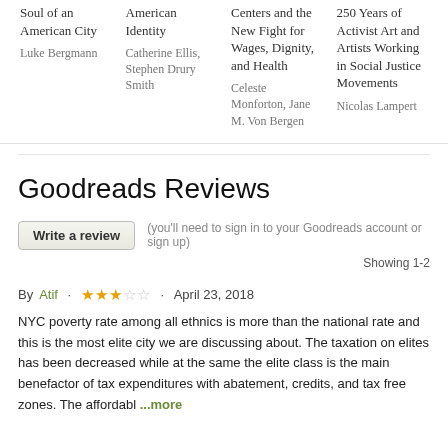Soul of an American City — Luke Bergmann
American Identity — Catherine Ellis, Stephen Drury Smith
Centers and the New Fight for Wages, Dignity, and Health — Celeste Monforton, Jane M. Von Bergen
250 Years of Activist Art and Artists Working in Social Justice Movements — Nicolas Lampert
Goodreads Reviews
Write a review   (you'll need to sign in to your Goodreads account or sign up)   Showing 1-2
By Atif · ★★★☆☆ · April 23, 2018
NYC poverty rate among all ethnics is more than the national rate and this is the most elite city we are discussing about. The taxation on elites has been decreased while at the same the elite class is the main benefactor of tax expenditures with abatement, credits, and tax free zones. The affordabl ...more